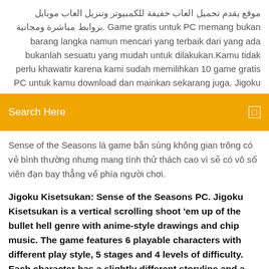موقع يقدم تحميل العاب خفيفة للكمبيوتر وتنزيل العاب موبايل بروابط مباشرة ومجانية. Game gratis untuk PC memang bukan barang langka namun mencari yang terbaik dari yang ada bukanlah sesuatu yang mudah untuk dilakukan.Kamu tidak perlu khawatir karena kami sudah memilihkan 10 game gratis PC untuk kamu download dan mainkan sekarang juga. Jigoku
[Figure (other): Orange search bar with text 'Search Here' and a search icon on the right]
Sense of the Seasons là game bắn súng không gian trông có vẻ bình thường nhưng mang tính thử thách cao vì sẽ có vô số viên đạn bay thẳng về phía người chơi.
Jigoku Kisetsukan: Sense of the Seasons PC. Jigoku Kisetsukan is a vertical scrolling shoot 'em up of the bullet hell genre with anime-style drawings and chip music. The game features 6 playable characters with different play style, 5 stages and 4 levels of difficulty. Each character has a slightly different storyline and a unique final boss fight.